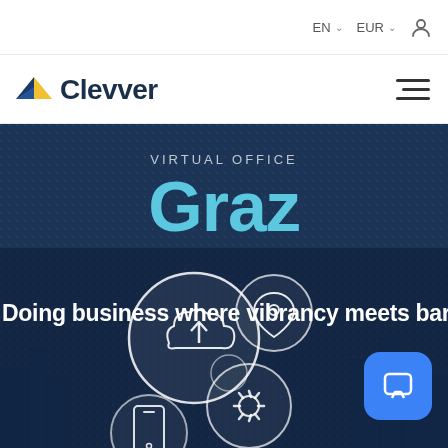EN  EUR  (user icon)
[Figure (logo): Clevver logo with blue and yellow triangular bird icon and dark blue wordmark 'Clevver']
[Figure (illustration): Hero section with dark navy background and dotted texture. Text: 'VIRTUAL OFFICE' label, 'Graz' in large cyan/light-blue bold font, tagline 'Doing business where vibrancy meets baroque'. Lower section shows white outline icons of cloud upload, location pin, gear/settings, smartphone, arranged in overlapping circles. City silhouette visible in background.]
[Figure (other): Blue rounded square chat/message button in bottom-right corner]